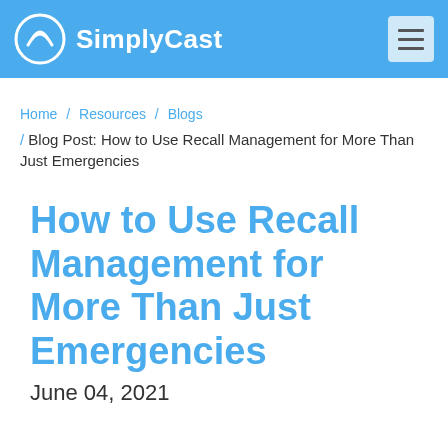SimplyCast
Home / Resources / Blogs
/ Blog Post: How to Use Recall Management for More Than Just Emergencies
How to Use Recall Management for More Than Just Emergencies
June 04, 2021